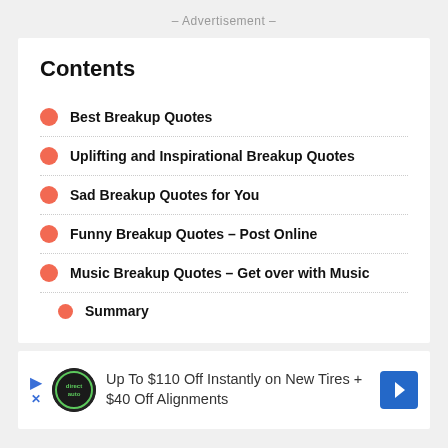– Advertisement –
Contents
Best Breakup Quotes
Uplifting and Inspirational Breakup Quotes
Sad Breakup Quotes for You
Funny Breakup Quotes – Post Online
Music Breakup Quotes – Get over with Music
Summary
[Figure (infographic): Advertisement banner: Up To $110 Off Instantly on New Tires + $40 Off Alignments]